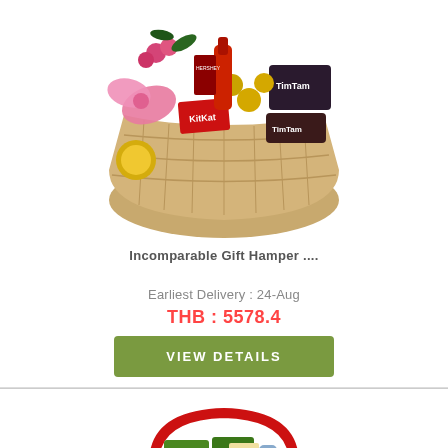[Figure (photo): Gift hamper basket filled with chocolates, KitKat, TimTam, Ferrero Rocher, and other snacks, decorated with pink bow and flowers]
Incomparable Gift Hamper ....
Earliest Delivery : 24-Aug
THB : 5578.4
VIEW DETAILS
[Figure (photo): Second gift hamper basket with red handles, containing health/beauty products, green tea packages, and other items, with red roses]